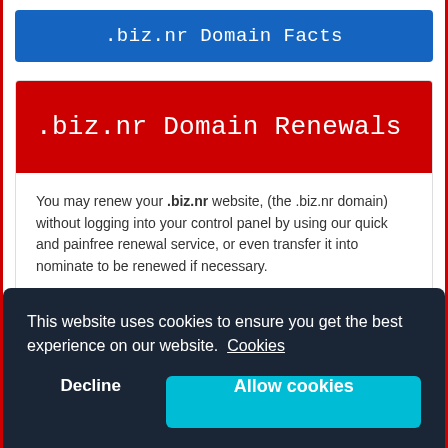.biz.nr Domain Facts
.biz.nr Domain Renewals
You may renew your .biz.nr website, (the .biz.nr domain) without logging into your control panel by using our quick and painfree renewal service, or even transfer it into nominate to be renewed if necessary.
.biz.nr Domain Renewals
This website uses cookies to ensure you get the best experience on our website. Cookies
Decline
Allow cookies